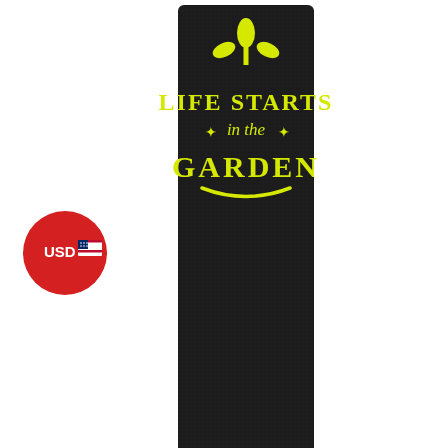[Figure (photo): Red circular badge with 'USD' text and US flag icon]
[Figure (photo): Main product image: a long black rectangular strip/board with yellow text reading 'LIFE STARTS in the GARDEN' with decorative leaf/plant motifs, and a metal hook/spoon attached at the bottom center]
[Figure (photo): Four thumbnail images below the main photo: (1) thin side view of the black strip, (2) close-up of yellow floral design on black, (3) close-up of the metal hook on black strip, (4) the black strip mounted on a white door frame]
[Figure (photo): Fifth thumbnail at bottom center showing partial view of the black strip with a cup/mug visible]